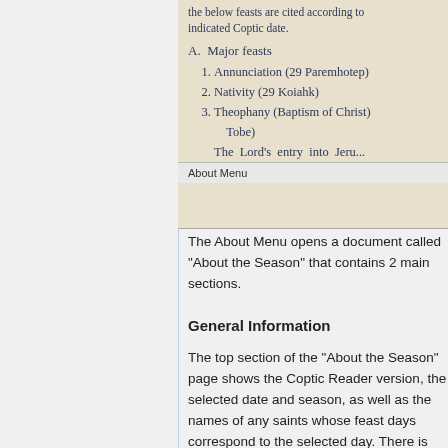[Figure (screenshot): Screenshot of a document showing Major feasts list with Annunciation (29 Paremhotep), Nativity (29 Koiahk), Theophany (Baptism of Christ) Tobe), and partial text 'The Lord's entry into Jeru...' with 'About Menu' footer label]
The About Menu opens a document called "About the Season" that contains 2 main sections.
General Information
The top section of the "About the Season" page shows the Coptic Reader version, the selected date and season, as well as the names of any saints whose feast days correspond to the selected day. There is also an "Online Help" link that opens an external web